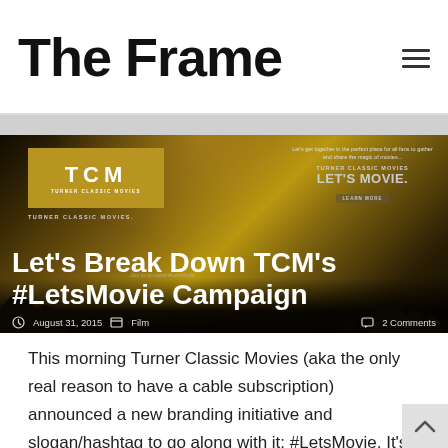The Frame
[Figure (screenshot): TCM (Turner Classic Movies) promotional banner for #LetsMovie campaign showing TCM logo on golden background with silhouetted figures]
Let's Break Down TCM's #LetsMovie Campaign
August 31, 2015   Film   2 Comments
This morning Turner Classic Movies (aka the only real reason to have a cable subscription) announced a new branding initiative and slogan/hashtag to go along with it: #LetsMovie. It's a pretty corny hashtag, but it is fai